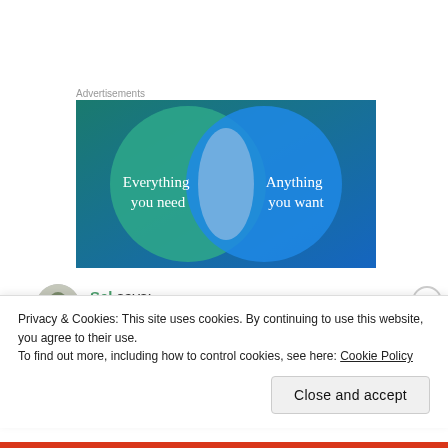Advertisements
[Figure (illustration): Venn diagram advertisement on dark blue/teal background showing two overlapping circles. Left circle (teal/green) has text 'Everything you need', right circle (blue) has text 'Anything you want'. The overlapping area is a lighter blue-grey.]
Sel says:
Privacy & Cookies: This site uses cookies. By continuing to use this website, you agree to their use.
To find out more, including how to control cookies, see here: Cookie Policy
Close and accept